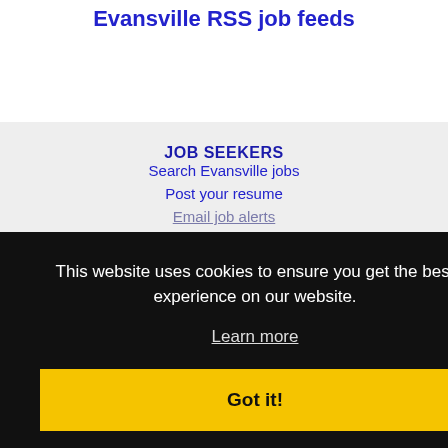Evansville RSS job feeds
JOB SEEKERS
Search Evansville jobs
Post your resume
Email job alerts
Register / Log In
EMPLOYERS
Post jobs
Search resumes
Email resume alerts
Advertise
This website uses cookies to ensure you get the best experience on our website.
Learn more
Got it!